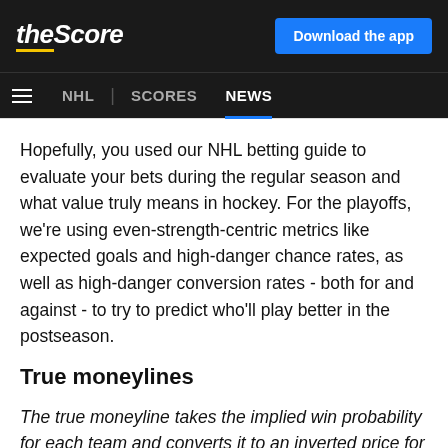theScore | Download the app | NHL | SCORES | NEWS
Hopefully, you used our NHL betting guide to evaluate your bets during the regular season and what value truly means in hockey. For the playoffs, we're using even-strength-centric metrics like expected goals and high-danger chance rates, as well as high-danger conversion rates - both for and against - to try to predict who'll play better in the postseason.
True moneylines
The true moneyline takes the implied win probability for each team and converts it to an inverted price for each side before the sportsbook takes its vig on a bet.
The following is the expected price for each side when